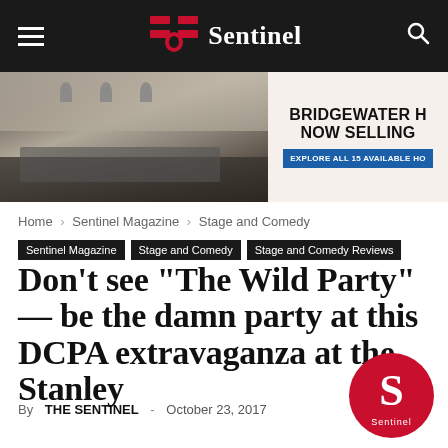Sentinel
[Figure (photo): Advertisement banner showing a modern kitchen interior on the left and text 'BRIDGEWATER H... NOW SELLING...' on the right with a blue button 'EXPLORE ALL 15 AVAILABLE HO...']
Home › Sentinel Magazine › Stage and Comedy
Sentinel Magazine  Stage and Comedy  Stage and Comedy Reviews
Don't see "The Wild Party" — be the damn party at this DCPA extravaganza at the Stanley
By THE SENTINEL - October 23, 2017  👁 465
[Figure (logo): Sentinel circular logo with red background and white S letter with 'Sentinel' text below]